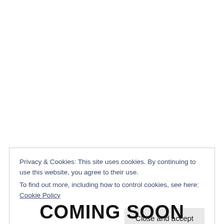Privacy & Cookies: This site uses cookies. By continuing to use this website, you agree to their use. To find out more, including how to control cookies, see here: Cookie Policy
Close and accept
COMING SOON